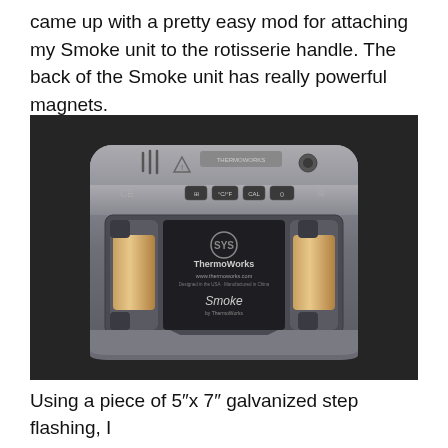came up with a pretty easy mod for attaching my Smoke unit to the rotisserie handle. The back of the Smoke unit has really powerful magnets.
[Figure (photo): Back view of a ThermoWorks Smoke thermometer unit showing two large rectangular magnets on the back panel, with the ThermoWorks logo and 'Smoke by ThermoWorks' label visible. The device is resting on a dark fabric surface.]
Using a piece of 5”x 7” galvanized step flashing, I